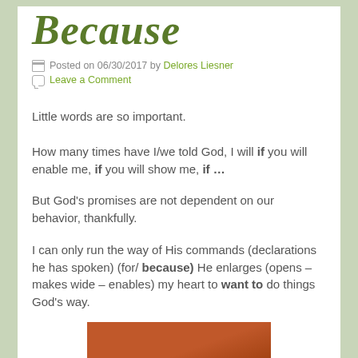BECAUSE
Posted on 06/30/2017 by Delores Liesner
Leave a Comment
Little words are so important.
How many times have I/we told God, I will if you will enable me, if you will show me, if …
But God’s promises are not dependent on our behavior, thankfully.
I can only run the way of His commands (declarations he has spoken) (for/ because) He enlarges (opens – makes wide – enables) my heart to want to do things God’s way.
[Figure (photo): Partial view of a brown/reddish wooden surface or table, visible at the bottom of the page.]